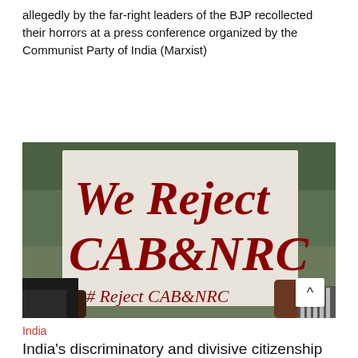allegedly by the far-right leaders of the BJP recollected their horrors at a press conference organized by the Communist Party of India (Marxist)
[Figure (photo): A person holding a white banner with red handwritten text reading 'We Reject CAB & NRC' and '#Reject CABandNRC' at a protest.]
India
India's discriminatory and divisive citizenship bill sparks mass protests